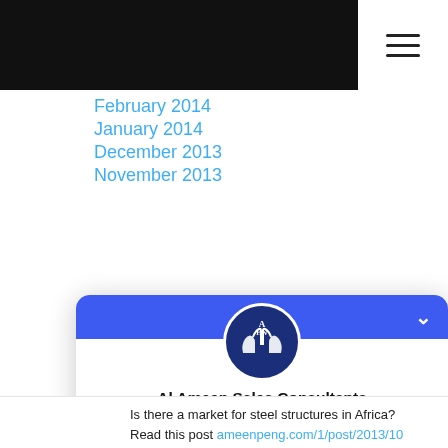February 2014
January 2014
December 2013
November 2013
[Figure (screenshot): Al Ameen Sales Consultants chat widget with logo, tagline 'We are ready to serve you', agents Ranjan Patil (Sales Consultant) and Habib Na]
Is there a market for steel structures in Africa? Read this post ameenpeng.com/1/post/2013/10